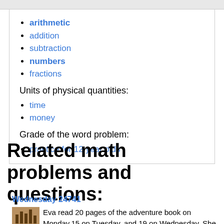arithmetic
addition
subtraction
numbers
fractions
Units of physical quantities:
time
money
Grade of the word problem:
practice for 12 year olds
Related math problems and questions:
Wednesday 24741
Eva read 20 pages of the adventure book on Monday,15 on Tuesday, and 19 on Wednesday. She did not read on